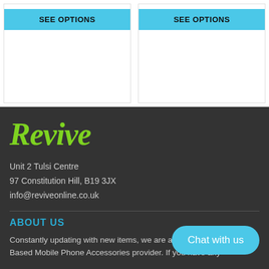[Figure (screenshot): Two product cards each with a blue 'SEE OPTIONS' button at the top]
Revive
Unit 2 Tulsi Centre
97 Constitution Hill, B19 3JX
info@reviveonline.co.uk
ABOUT US
Constantly updating with new items, we are a UK Based Mobile Phone Accessories provider. If you have any